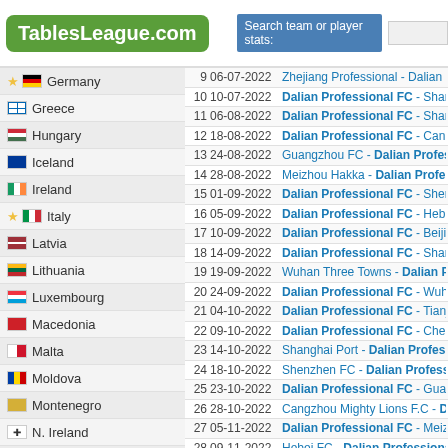TablesLeague.com | Search team or player stats:
Germany
Greece
Hungary
Iceland
Ireland
Italy
Latvia
Lithuania
Luxembourg
Macedonia
Malta
Moldova
Montenegro
N. Ireland
Netherlands
Norway
Poland
Portugal
Romania
| # | Date | Match |
| --- | --- | --- |
| 9 | 06-07-2022 | Zhejiang Professional - Dalian Profes... |
| 10 | 10-07-2022 | Dalian Professional FC - Shandong... |
| 11 | 06-08-2022 | Dalian Professional FC - Shangh... |
| 12 | 18-08-2022 | Dalian Professional FC - Cangzhou Mi... |
| 13 | 24-08-2022 | Guangzhou FC - Dalian Professio... |
| 14 | 28-08-2022 | Meizhou Hakka - Dalian Professio... |
| 15 | 01-09-2022 | Dalian Professional FC - Shenzh... |
| 16 | 05-09-2022 | Dalian Professional FC - Hebe... |
| 17 | 10-09-2022 | Dalian Professional FC - Beijing... |
| 18 | 14-09-2022 | Dalian Professional FC - Shanghai... |
| 19 | 19-09-2022 | Wuhan Three Towns - Dalian Profes... |
| 20 | 24-09-2022 | Dalian Professional FC - Wuhan Yan... |
| 21 | 04-10-2022 | Dalian Professional FC - Tianjin Jin... |
| 22 | 09-10-2022 | Dalian Professional FC - Chengdu Ro... |
| 23 | 14-10-2022 | Shanghai Port - Dalian Professio... |
| 24 | 18-10-2022 | Shenzhen FC - Dalian Professio... |
| 25 | 23-10-2022 | Dalian Professional FC - Guangz... |
| 26 | 28-10-2022 | Cangzhou Mighty Lions F.C - Dalian Pro... |
| 27 | 05-11-2022 | Dalian Professional FC - Meizho... |
| 28 | 09-11-2022 | Hebei FC - Dalian Professiona... |
| 29 | 13-11-2022 | Beijing Guoan - Dalian Professio... |
| 30 | 18-11-2022 | Shanghai Shenhua - Dalian Profes... |